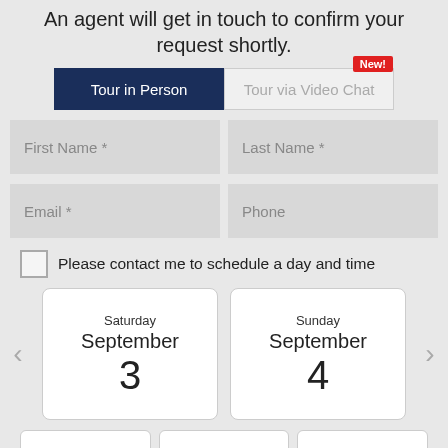An agent will get in touch to confirm your request shortly.
[Figure (screenshot): Toggle tabs: 'Tour in Person' (active, dark blue) and 'Tour via Video Chat' (inactive, gray) with a red 'New!' badge]
First Name *
Last Name *
Email *
Phone
Please contact me to schedule a day and time
[Figure (screenshot): Calendar date picker showing Saturday September 3 and Sunday September 4 with left/right navigation arrows]
[Figure (screenshot): Three partially visible time slot cards at the bottom]